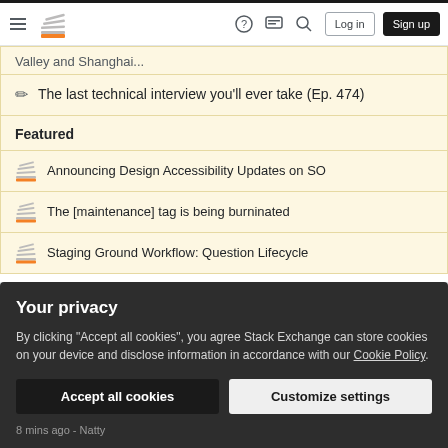Stack Overflow navigation bar with hamburger menu, logo, help, chat, search icons, Log in and Sign up buttons
Valley and Shanghai...
The last technical interview you'll ever take (Ep. 474)
Featured
Announcing Design Accessibility Updates on SO
The [maintenance] tag is being burninated
Staging Ground Workflow: Question Lifecycle
28 people chatting
Your privacy
By clicking "Accept all cookies", you agree Stack Exchange can store cookies on your device and disclose information in accordance with our Cookie Policy.
Accept all cookies
Customize settings
8 mins ago - Natty